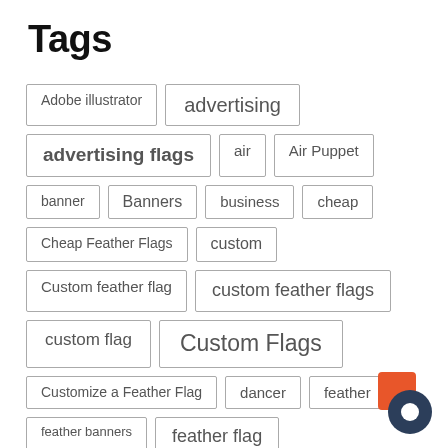Tags
Adobe illustrator
advertising
advertising flags
air
Air Puppet
banner
Banners
business
cheap
Cheap Feather Flags
custom
Custom feather flag
custom feather flags
custom flag
Custom Flags
Customize a Feather Flag
dancer
feather
feather banners
feather flag